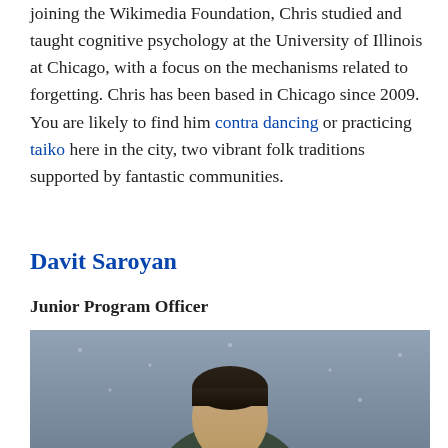joining the Wikimedia Foundation, Chris studied and taught cognitive psychology at the University of Illinois at Chicago, with a focus on the mechanisms related to forgetting. Chris has been based in Chicago since 2009. You are likely to find him contra dancing or practicing taiko here in the city, two vibrant folk traditions supported by fantastic communities.
Davit Saroyan
Junior Program Officer
[Figure (photo): Photo of Davit Saroyan, partially visible, person with dark hair against a blurred outdoor background]